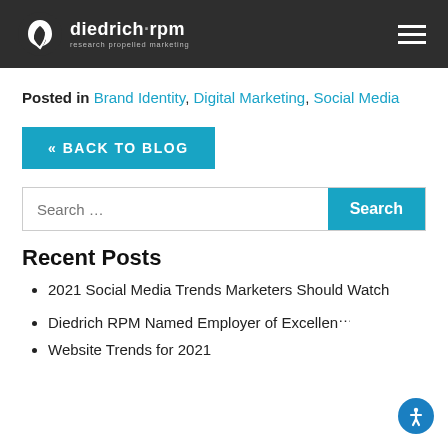diedrich·rpm research propelled marketing
Posted in Brand Identity, Digital Marketing, Social Media
« BACK TO BLOG
Search …
Recent Posts
2021 Social Media Trends Marketers Should Watch
Diedrich RPM Named Employer of Excellence
Website Trends for 2021